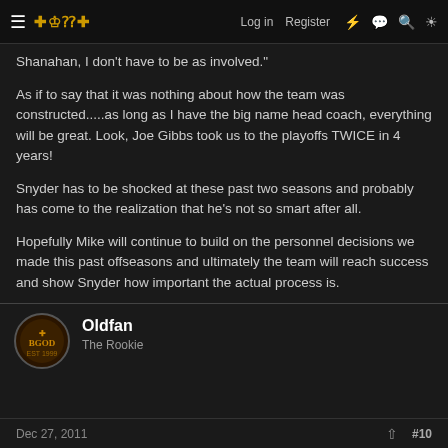≡ [BGOD] Log in Register ⚡ 💬 🔍 ☀
Shanahan, I don't have to be as involved."
As if to say that it was nothing about how the team was constructed.....as long as I have the big name head coach, everything will be great. Look, Joe Gibbs took us to the playoffs TWICE in 4 years!
Snyder has to be shocked at these past two seasons and probably has come to the realization that he's not so smart after all.
Hopefully Mike will continue to build on the personnel decisions we made this past offseasons and ultimately the team will reach success and show Snyder how important the actual process is.
Oldfan
The Rookie
Dec 27, 2011  #10